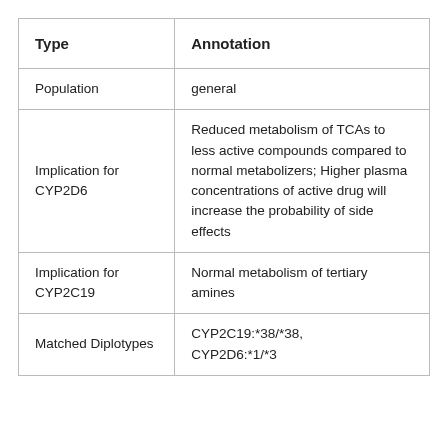| Type | Annotation |
| --- | --- |
| Population | general |
| Implication for CYP2D6 | Reduced metabolism of TCAs to less active compounds compared to normal metabolizers; Higher plasma concentrations of active drug will increase the probability of side effects |
| Implication for CYP2C19 | Normal metabolism of tertiary amines |
| Matched Diplotypes | CYP2C19:*38/*38, CYP2D6:*1/*3 |